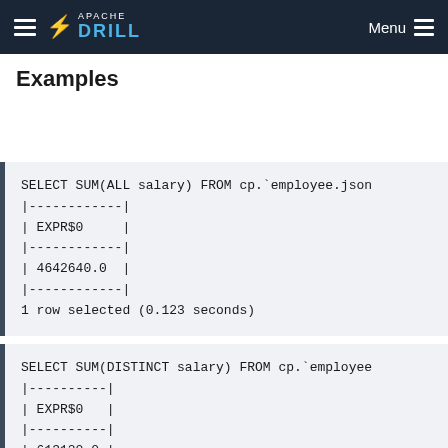Apache Drill — Menu
Examples
SELECT SUM(ALL salary) FROM cp.`employee.json`
|------------|
| EXPR$0     |
|------------|
| 4642640.0  |
|------------|
1 row selected (0.123 seconds)
SELECT SUM(DISTINCT salary) FROM cp.`employee
|----------|
| EXPR$0   |
|----------|
| 613120.0 |
|----------|